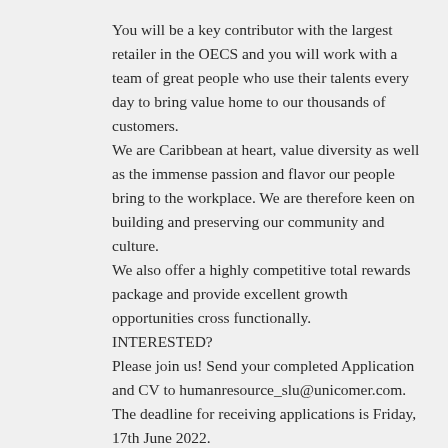You will be a key contributor with the largest retailer in the OECS and you will work with a team of great people who use their talents every day to bring value home to our thousands of customers.
We are Caribbean at heart, value diversity as well as the immense passion and flavor our people bring to the workplace. We are therefore keen on building and preserving our community and culture.
We also offer a highly competitive total rewards package and provide excellent growth opportunities cross functionally.
INTERESTED?
Please join us! Send your completed Application and CV to humanresource_slu@unicomer.com.
The deadline for receiving applications is Friday, 17th June 2022.